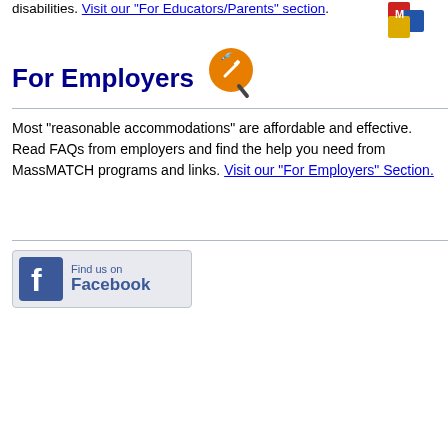disabilities. Visit our "For Educators/Parents" section.
For Employers
Most "reasonable accommodations" are affordable and effective. Read FAQs from employers and find the help you need from MassMATCH programs and links. Visit our "For Employers" Section.
[Figure (logo): Find us on Facebook button with Facebook logo]
[Figure (logo): MassMATCH logo with colorful graphic on top right]
[Figure (logo): Orange circle with hammer icon next to For Employers heading]